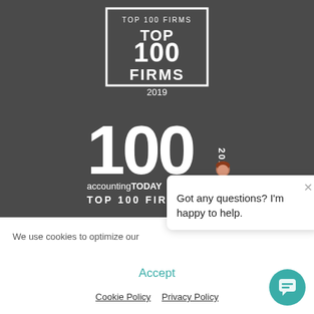[Figure (logo): Top 100 Firms 2019 badge - white text in rectangular border on dark background]
[Figure (logo): Accounting Today Top 100 Firms 2018 badge - large '100' with '2018' vertical text, 'accountingTODAY TOP 100 FIRMS' text below, on dark background]
We use cookies to optimize our
Accept
Cookie Policy   Privacy Policy
[Figure (illustration): Chat popup with avatar (woman with red hair, blue suit), close X button, and text: Got any questions? I'm happy to help.]
[Figure (illustration): Teal circular chat bubble button in bottom right corner]